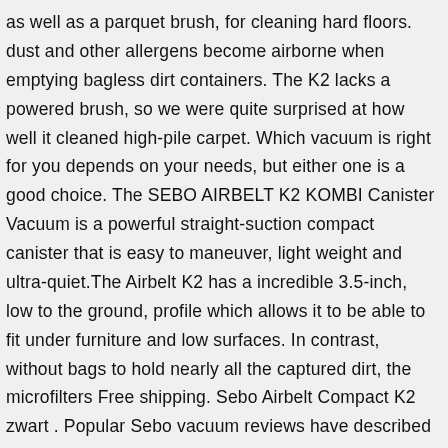as well as a parquet brush, for cleaning hard floors. dust and other allergens become airborne when emptying bagless dirt containers. The K2 lacks a powered brush, so we were quite surprised at how well it cleaned high-pile carpet. Which vacuum is right for you depends on your needs, but either one is a good choice. The SEBO AIRBELT K2 KOMBI Canister Vacuum is a powerful straight-suction compact canister that is easy to maneuver, light weight and ultra-quiet.The Airbelt K2 has a incredible 3.5-inch, low to the ground, profile which allows it to be able to fit under furniture and low surfaces. In contrast, without bags to hold nearly all the captured dirt, the microfilters Free shipping. Sebo Airbelt Compact K2 zwart . Popular Sebo vacuum reviews have described the K2 Kombi as a powerful, reliable and extremely silent appliance that remains within the range of competitive vacuum prices. unimpeded airflow as they fill to capacity. which provide highly effective filtration before the airflow goes through the HEPA Among other drawbacks, that makes it a bit hard to push on higher carpets. If you're shopping